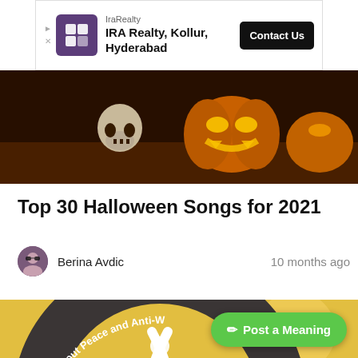[Figure (advertisement): IraRealty advertisement banner: IRA Realty, Kollur, Hyderabad with Contact Us button and purple logo]
[Figure (photo): Halloween-themed hero image with skull and glowing jack-o-lanterns on dark orange background]
Top 30 Halloween Songs for 2021
Berina Avdic  10 months ago
[Figure (photo): Songs About Peace and Anti-War themed image with peace sign hand gesture on yellow/orange background, circular dark gray text band]